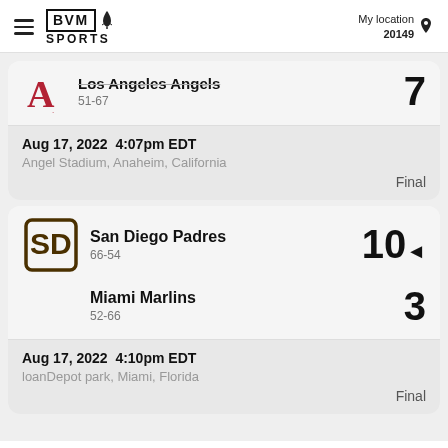BVM SPORTS — My location 20149
Los Angeles Angels 51-67 — 7
Aug 17, 2022  4:07pm EDT
Angel Stadium, Anaheim, California
Final
San Diego Padres 66-54 — 10◄
Miami Marlins 52-66 — 3
Aug 17, 2022  4:10pm EDT
loanDepot park, Miami, Florida
Final